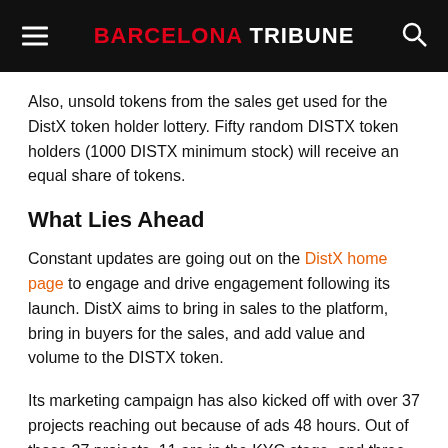BARCELONA TRIBUNE
Also, unsold tokens from the sales get used for the DistX token holder lottery. Fifty random DISTX token holders (1000 DISTX minimum stock) will receive an equal share of tokens.
What Lies Ahead
Constant updates are going out on the DistX home page to engage and drive engagement following its launch. DistX aims to bring in sales to the platform, bring in buyers for the sales, and add value and volume to the DISTX token.
Its marketing campaign has also kicked off with over 37 projects reaching out because of ads 48 hours. Out of those 37 projects, 11 are in the KYC stage, and three are close to completing it. It indeed is a step in the right direction for